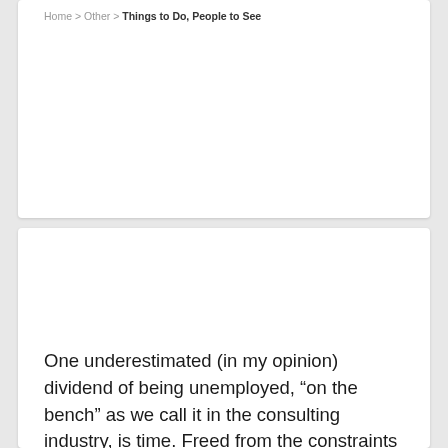Home > Other > Things to Do, People to See
One underestimated (in my opinion) dividend of being unemployed, “on the bench” as we call it in the consulting industry, is time. Freed from the constraints of a workaday routine, I can more or less decide how, when and where I spend it. This is not to say there is not a tremendous amount of work to be done. Indeed, I feel sometimes as if this is a more resource hungry endeavor than any job I have ever had. While the search takes on a great deal of importance, I think the way I choose to go about it and the other activities I have undertaken during this time, say much about how I like to work and what things I am most